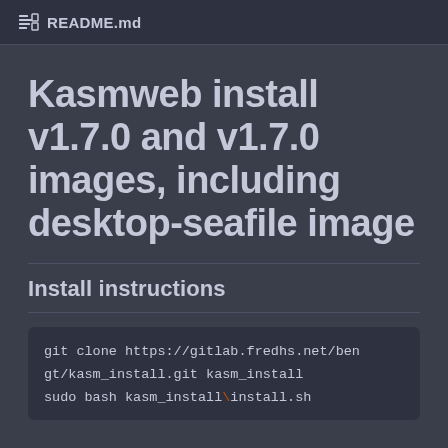README.md
Kasmweb install v1.7.0 and v1.7.0 images, including desktop-seafile image
Install instructions
git clone https://gitlab.fredhs.net/bengt/kasm_install.git kasm_install
sudo bash kasm_install\install.sh